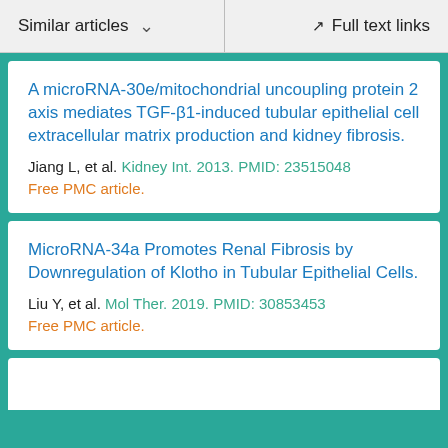Similar articles   ∨      Full text links
A microRNA-30e/mitochondrial uncoupling protein 2 axis mediates TGF-β1-induced tubular epithelial cell extracellular matrix production and kidney fibrosis.
Jiang L, et al. Kidney Int. 2013. PMID: 23515048
Free PMC article.
MicroRNA-34a Promotes Renal Fibrosis by Downregulation of Klotho in Tubular Epithelial Cells.
Liu Y, et al. Mol Ther. 2019. PMID: 30853453
Free PMC article.